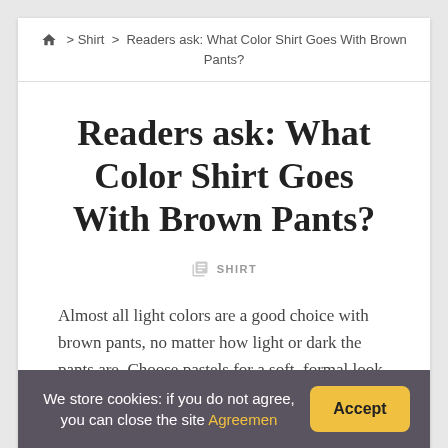🏠 > Shirt > Readers ask: What Color Shirt Goes With Brown Pants?
Readers ask: What Color Shirt Goes With Brown Pants?
SHIRT
Almost all light colors are a good choice with brown pants, no matter how light or dark the pants are. Choose pastels for a soft, formal look.
We store cookies: if you do not agree, you can close the site Agreemen